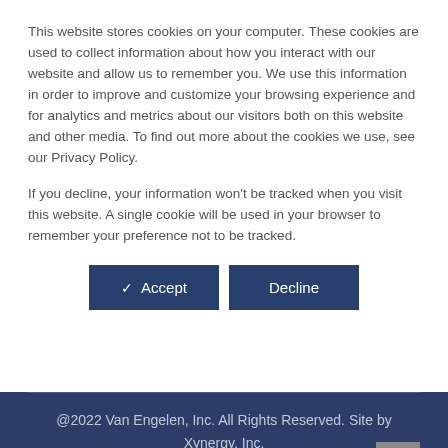This website stores cookies on your computer. These cookies are used to collect information about how you interact with our website and allow us to remember you. We use this information in order to improve and customize your browsing experience and for analytics and metrics about our visitors both on this website and other media. To find out more about the cookies we use, see our Privacy Policy.
If you decline, your information won't be tracked when you visit this website. A single cookie will be used in your browser to remember your preference not to be tracked.
✓ Accept | Decline
@2022 Van Engelen, Inc. All Rights Reserved. Site by Xynergy, Inc.
Privacy Policy